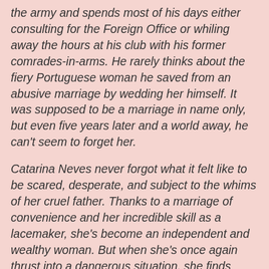the army and spends most of his days either consulting for the Foreign Office or whiling away the hours at his club with his former comrades-in-arms. He rarely thinks about the fiery Portuguese woman he saved from an abusive marriage by wedding her himself. It was supposed to be a marriage in name only, but even five years later and a world away, he can't seem to forget her.
Catarina Neves never forgot what it felt like to be scared, desperate, and subject to the whims of her cruel father. Thanks to a marriage of convenience and her incredible skill as a lacemaker, she's become an independent and wealthy woman. But when she's once again thrust into a dangerous situation, she finds herself in London and knocking on the door of the husband she hasn't seen since those war-torn years in Portugal. Catarina tells Benedict she wants an annulment, but when he argues against it, can she trust him enough to ask for what she really needs?